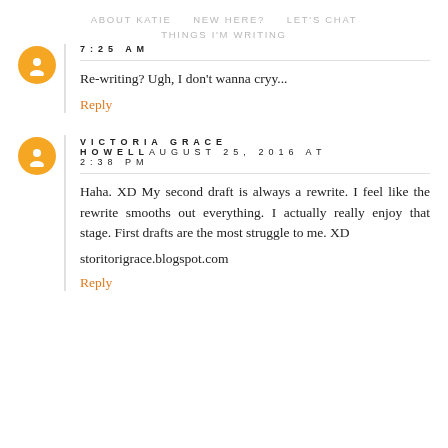ABOUT KATIE   NEW HERE?   LET'S CHAT
THINGS I'M WRITING
7:25 AM
Re-writing? Ugh, I don't wanna cryy...
Reply
VICTORIA GRACE HOWELL AUGUST 25, 2016 AT 2:38 PM
Haha. XD My second draft is always a rewrite. I feel like the rewrite smooths out everything. I actually really enjoy that stage. First drafts are the most struggle to me. XD
storitorigrace.blogspot.com
Reply